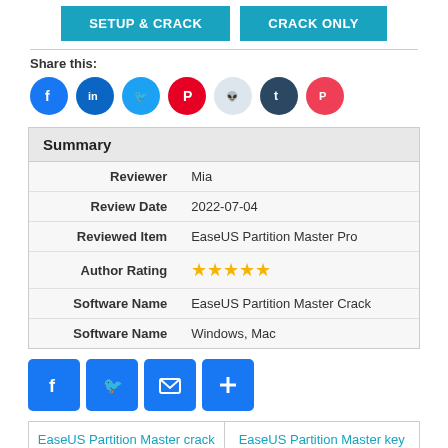[Figure (infographic): Two teal buttons: SETUP & CRACK and CRACK ONLY]
Share this:
[Figure (infographic): Row of social media share icons: Facebook, LinkedIn, Twitter, Pinterest, Reddit, Tumblr, Pocket]
|  |  |
| --- | --- |
| Summary |  |
| Reviewer | Mia |
| Review Date | 2022-07-04 |
| Reviewed Item | EaseUS Partition Master Pro |
| Author Rating | ★★★★★ |
| Software Name | EaseUS Partition Master Crack |
| Software Name | Windows, Mac |
[Figure (infographic): Four blue square icon buttons: Facebook, Twitter, Email, Share+]
EaseUS Partition Master crack | EaseUS Partition Master key